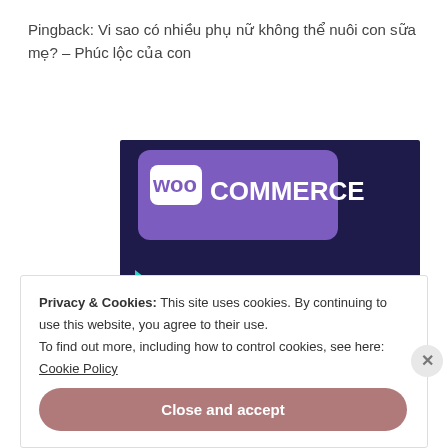Pingback: Vi sao có nhiều phụ nữ không thể nuôi con sữa mẹ? – Phúc lộc của con
[Figure (screenshot): WooCommerce advertisement banner with purple/dark background. Shows WooCommerce logo at top and text 'Turn your hobby into a business in 8 steps' in bold white text. Decorative teal and light blue shapes visible.]
Privacy & Cookies: This site uses cookies. By continuing to use this website, you agree to their use.
To find out more, including how to control cookies, see here: Cookie Policy
Close and accept